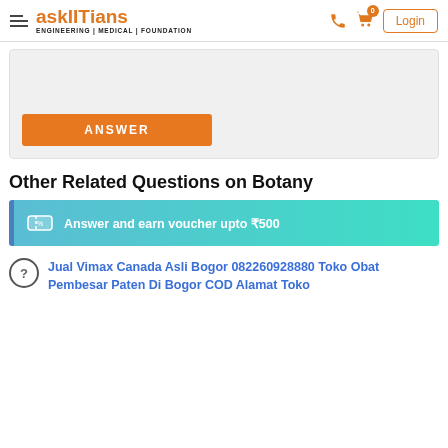askIITians ENGINEERING | MEDICAL | FOUNDATION
[Figure (screenshot): Answer text input area (light gray box)]
ANSWER
Other Related Questions on Botany
Answer and earn voucher upto ₹500
Jual Vimax Canada Asli Bogor 082260928880 Toko Obat Pembesar Paten Di Bogor COD Alamat Toko